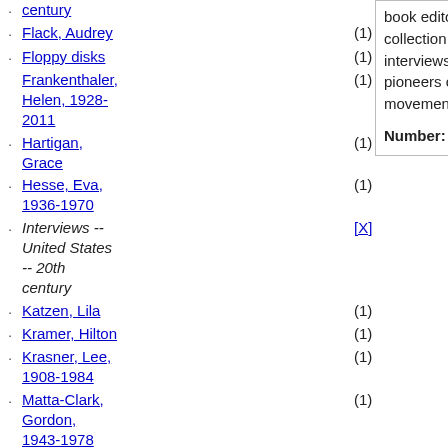century (truncated at top)
Flack, Audrey (1)
Floppy disks (1)
Frankenthaler, Helen, 1928-2011 (1)
Hartigan, Grace (1)
Hesse, Eva, 1936-1970 (1)
Interviews -- United States -- 20th century [X]
Katzen, Lila (1)
Kramer, Hilton (1)
Krasner, Lee, 1908-1984 (1)
Matta-Clark, Gordon, 1943-1978 (1)
Neel, Alice, 1900-1984 (1)
Nemser, Cindy (1)
Nevelson, Louise, 1899-1988 (1)
book editors, and an extensive collection of Nemser's taped interviews with artists and pioneers of the feminist art movement.
Number: 2013.M.21